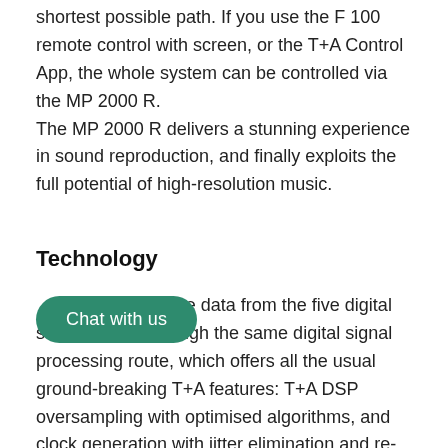shortest possible path. If you use the F 100 remote control with screen, or the T+A Control App, the whole system can be controlled via the MP 2000 R. The MP 2000 R delivers a stunning experience in sound reproduction, and finally exploits the full potential of high-resolution music.
Technology
In the MP 2000 R the data from the five digital sources go through the same digital signal processing route, which offers all the usual ground-breaking T+A features: T+A DSP oversampling with optimised algorithms, and clock generation with jitter elimination and re-synchronisation. Jitter is one of the most severe